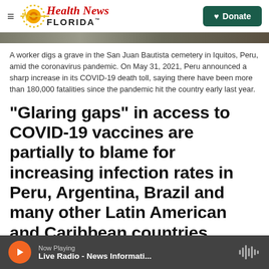Health News Florida — Donate
[Figure (photo): A worker digs a grave in the San Juan Bautista cemetery in Iquitos, Peru — partial image strip shown at top of page]
A worker digs a grave in the San Juan Bautista cemetery in Iquitos, Peru, amid the coronavirus pandemic. On May 31, 2021, Peru announced a sharp increase in its COVID-19 death toll, saying there have been more than 180,000 fatalities since the pandemic hit the country early last year.
"Glaring gaps" in access to COVID-19 vaccines are partially to blame for increasing infection rates in Peru, Argentina, Brazil and many other Latin American and Caribbean countries .
Now Playing — Live Radio - News Informati...